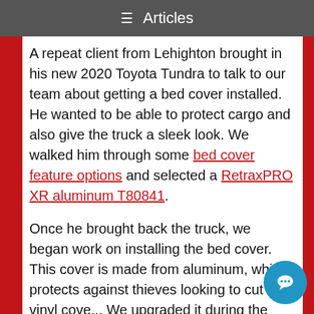☰  Articles
A repeat client from Lehighton brought in his new 2020 Toyota Tundra to talk to our team about getting a bed cover installed. He wanted to be able to protect cargo and also give the truck a sleek look. We walked him through some bed cover feature options and selected a RetraxPRO XR aluminum T80841.
Once he brought back the truck, we began work on installing the bed cover. This cover is made from aluminum, which protects against thieves looking to cut a vinyl cove... We upgraded it during the installation by applying a 3994C Tailgate Gasket that